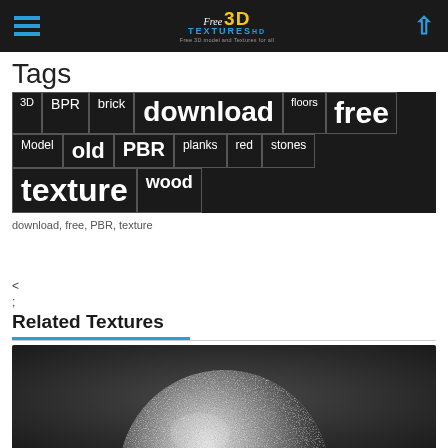Free 3D Textures HD
Tags
3D
BPR
brick
download
floors
free
Model
old
PBR
planks
red
stones
texture
wood
download, free, PBR, texture
<
;
Related Textures
[Figure (photo): A 3D rendered sphere with metallic/silver texture on a dark background]